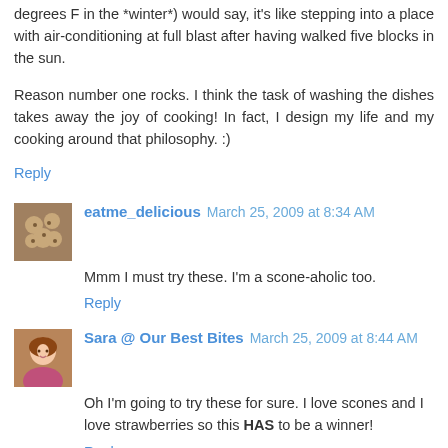degrees F in the *winter*) would say, it's like stepping into a place with air-conditioning at full blast after having walked five blocks in the sun.
Reason number one rocks. I think the task of washing the dishes takes away the joy of cooking! In fact, I design my life and my cooking around that philosophy. :)
Reply
eatme_delicious March 25, 2009 at 8:34 AM
Mmm I must try these. I'm a scone-aholic too.
Reply
Sara @ Our Best Bites March 25, 2009 at 8:44 AM
Oh I'm going to try these for sure. I love scones and I love strawberries so this HAS to be a winner!
Reply